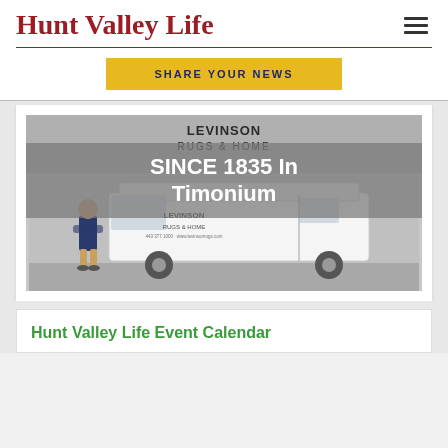Hunt Valley Life
SHARE YOUR NEWS
[Figure (photo): Photo of a man standing next to a white Levinson Rugs & Home delivery van in front of the Levinson Rugs & Home store. An overlay text reads 'SINCE 1835 In Timonium'.]
Hunt Valley Life Event Calendar